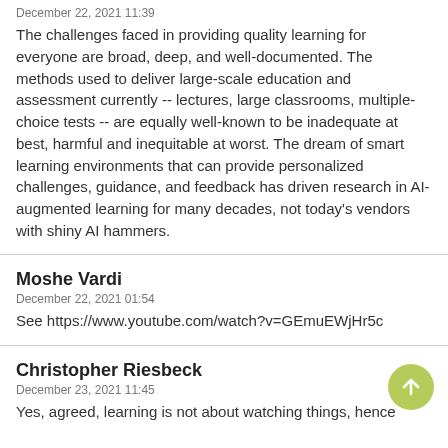December 22, 2021 11:39
The challenges faced in providing quality learning for everyone are broad, deep, and well-documented. The methods used to deliver large-scale education and assessment currently -- lectures, large classrooms, multiple-choice tests -- are equally well-known to be inadequate at best, harmful and inequitable at worst. The dream of smart learning environments that can provide personalized challenges, guidance, and feedback has driven research in AI-augmented learning for many decades, not today's vendors with shiny AI hammers.
Moshe Vardi
December 22, 2021 01:54
See https://www.youtube.com/watch?v=GEmuEWjHr5c
Christopher Riesbeck
December 23, 2021 11:45
Yes, agreed, learning is not about watching things, hence